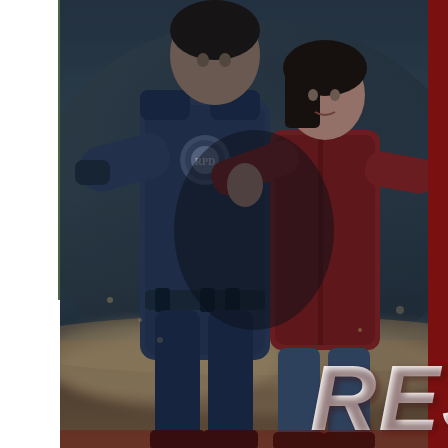[Figure (photo): Cover art showing two video game characters — a police officer in blue uniform with an insignia badge on his shoulder, and a woman in a red jacket — running or moving through a smoky, dusty environment. The image has a dark, action-oriented tone. Large bold white italic letters 'RES' are visible in the lower right corner, partially cut off, suggesting 'RESIDENT EVIL'. The image is framed with a deep red border on the right and bottom, and a white margin on the left with a thin green vertical line.]